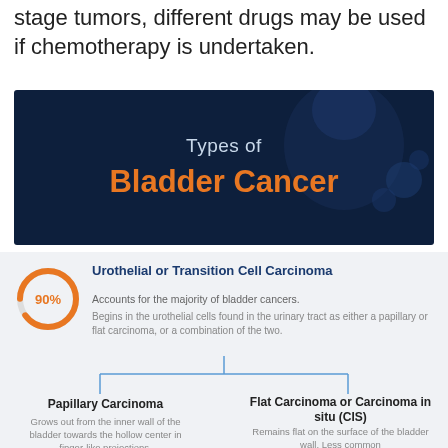stage tumors, different drugs may be used if chemotherapy is undertaken.
[Figure (infographic): Dark blue banner image with a person looking up, overlaid with text 'Types of Bladder Cancer' where 'Types of' is in light blue-white and 'Bladder Cancer' is in orange bold text.]
[Figure (donut-chart): Orange donut chart showing 90% filled, labeled '90%' in orange text in the center.]
Urothelial or Transition Cell Carcinoma
Accounts for the majority of bladder cancers.
Begins in the urothelial cells found in the urinary tract as either a papillary or flat carcinoma, or a combination of the two.
[Figure (flowchart): Tree diagram with a vertical line splitting into two horizontal branches pointing to Papillary Carcinoma (left) and Flat Carcinoma or Carcinoma in situ (CIS) (right).]
Papillary Carcinoma
Grows out from the inner wall of the bladder towards the hollow center in finger-like projections.
Flat Carcinoma or Carcinoma in situ (CIS)
Remains flat on the surface of the bladder wall. Less common